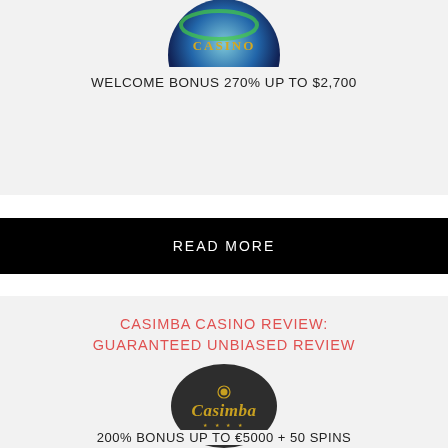[Figure (logo): Casino logo circle at top of page with colorful globe and 'CASINO' text in gold]
WELCOME BONUS 270% UP TO $2,700
READ MORE
CASIMBA CASINO REVIEW: GUARANTEED UNBIASED REVIEW
[Figure (logo): Casimba casino logo: dark circle with gold 'Casimba' cursive text and poker chip icon]
200% BONUS UP TO €5000 + 50 SPINS